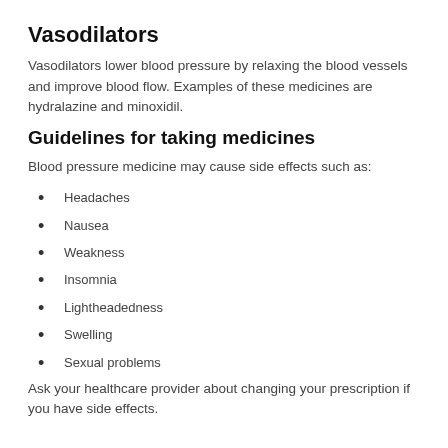Vasodilators
Vasodilators lower blood pressure by relaxing the blood vessels and improve blood flow. Examples of these medicines are hydralazine and minoxidil.
Guidelines for taking medicines
Blood pressure medicine may cause side effects such as:
Headaches
Nausea
Weakness
Insomnia
Lightheadedness
Swelling
Sexual problems
Ask your healthcare provider about changing your prescription if you have side effects.